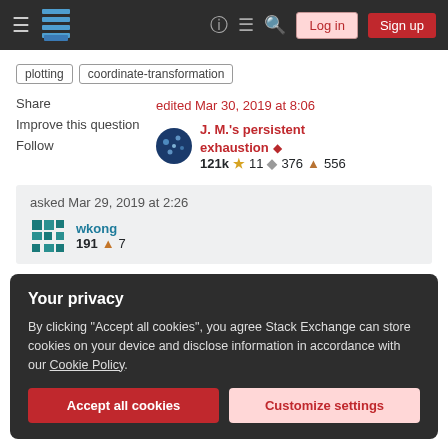Stack Exchange navigation bar with Log in and Sign up buttons
plotting
coordinate-transformation
Share
Improve this question
Follow
edited Mar 30, 2019 at 8:06 — J. M.'s persistent exhaustion ♦ — 121k ★11 ◆376 ▲556
asked Mar 29, 2019 at 2:26 — wkong — 191 ▲7
Your privacy
By clicking "Accept all cookies", you agree Stack Exchange can store cookies on your device and disclose information in accordance with our Cookie Policy.
Accept all cookies   Customize settings
disabled ColorFunctionScaling and it seems run faster.